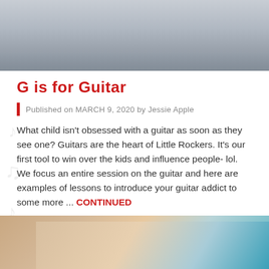[Figure (photo): Top cropped photo showing blurred ceiling or light fixture with gray/blue tones]
G is for Guitar
Published on MARCH 9, 2020 by Jessie Apple
What child isn't obsessed with a guitar as soon as they see one? Guitars are the heart of Little Rockers. It's our first tool to win over the kids and influence people- lol. We focus an entire session on the guitar and here are examples of lessons to introduce your guitar addict to some more ... CONTINUED
[Figure (photo): Bottom cropped photo showing a guitar body in warm tan/brown tones against teal/blue background]